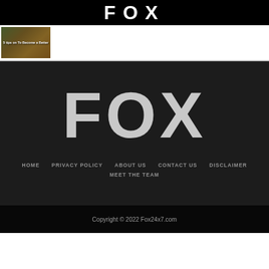FOX
[Figure (photo): Small thumbnail image showing a video or article preview, with text overlay reading something about 'become a better']
FOX
HOME | PRIVACY POLICY | ABOUT US | CONTACT US | DISCLAIMER | MEET THE TEAM
Copyright © 2022 Fox24x7.com